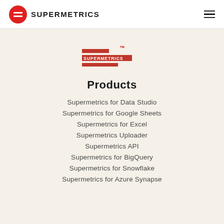SUPERMETRICS
[Figure (logo): Supermetrics logo — red horizontal bars with SUPERMETRICS text and TM mark]
Products
Supermetrics for Data Studio
Supermetrics for Google Sheets
Supermetrics for Excel
Supermetrics Uploader
Supermetrics API
Supermetrics for BigQuery
Supermetrics for Snowflake
Supermetrics for Azure Synapse